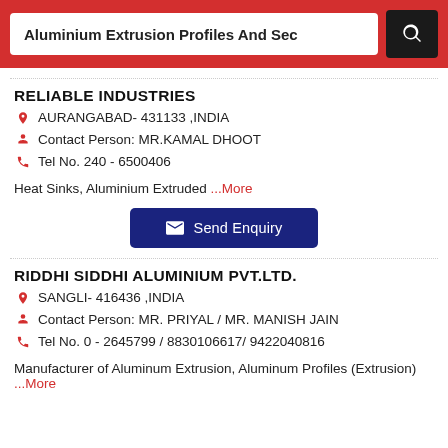Aluminium Extrusion Profiles And Sec
RELIABLE INDUSTRIES
AURANGABAD- 431133 ,INDIA
Contact Person: MR.KAMAL DHOOT
Tel No. 240 - 6500406
Heat Sinks, Aluminium Extruded ...More
Send Enquiry
RIDDHI SIDDHI ALUMINIUM PVT.LTD.
SANGLI- 416436 ,INDIA
Contact Person: MR. PRIYAL / MR. MANISH JAIN
Tel No. 0 - 2645799 / 8830106617/ 9422040816
Manufacturer of Aluminum Extrusion, Aluminum Profiles (Extrusion) ...More